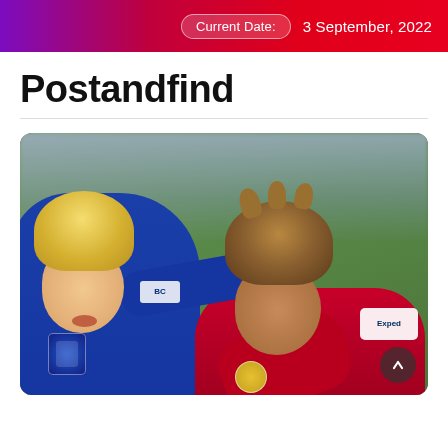Current Date:  3 September, 2022
Postandfind
[Figure (photo): Two football players in a physical contest for the ball — one in a blue Everton kit with blonde hair, one in a red Liverpool kit with dark spiky hair. Crowd blurred in background.]